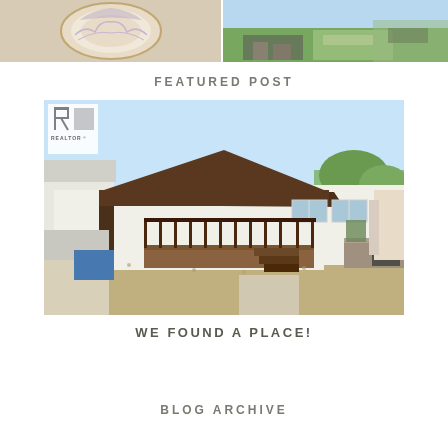[Figure (photo): Two photos side by side at top: left shows a decorative plate with floral pattern, right shows an outdoor scene with green lawn and steps]
FEATURED POST
[Figure (photo): Exterior photo of a white mobile/manufactured home with a brown metal roof, large deck with dark railings, stairs, gravel yard, and a Realtor logo watermark in the upper left corner]
WE FOUND A PLACE!
BLOG ARCHIVE